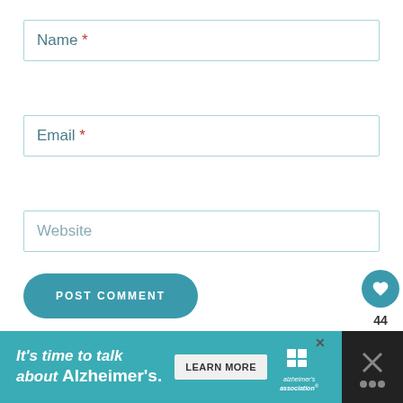Name *
Email *
Website
POST COMMENT
[Figure (screenshot): Social sidebar with heart/like button showing 44 likes and a share button]
[Figure (infographic): Alzheimer's Association ad banner: 'It's time to talk about Alzheimer's.' with LEARN MORE button and Alzheimer's Association logo on teal background]